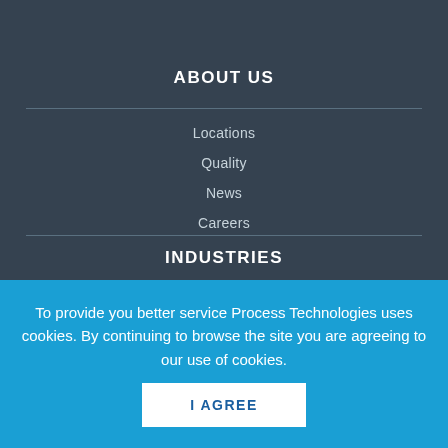ABOUT US
Locations
Quality
News
Careers
INDUSTRIES
To provide you better service Process Technologies uses cookies. By continuing to browse the site you are agreeing to our use of cookies.
I AGREE